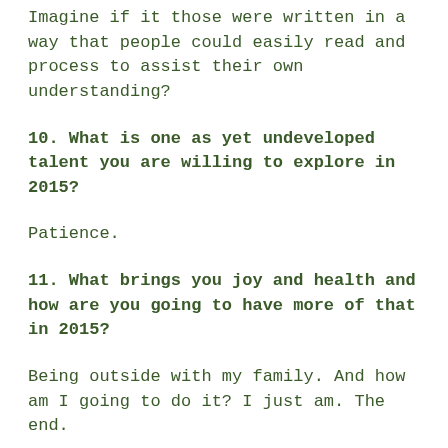Imagine if it those were written in a way that people could easily read and process to assist their own understanding?
10. What is one as yet undeveloped talent you are willing to explore in 2015?
Patience.
11. What brings you joy and health and how are you going to have more of that in 2015?
Being outside with my family. And how am I going to do it? I just am. The end.
12. Who or what, other than yourself, are you most committed to loving and serving in